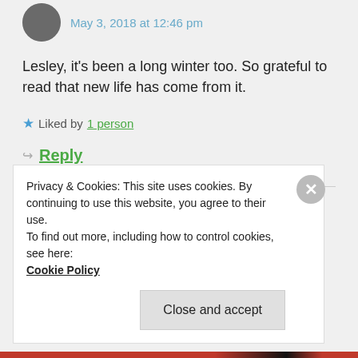May 3, 2018 at 12:46 pm
Lesley, it's been a long winter too. So grateful to read that new life has come from it.
Liked by 1 person
Reply
LESLEY
May 3, 2018 at 10:58 pm
Privacy & Cookies: This site uses cookies. By continuing to use this website, you agree to their use.
To find out more, including how to control cookies, see here:
Cookie Policy
Close and accept